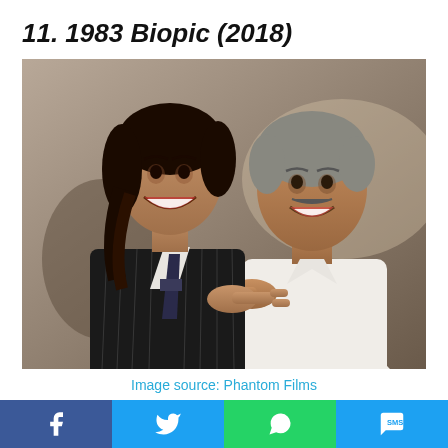11. 1983 Biopic (2018)
[Figure (photo): Two men posing together smiling and pointing at each other. Left man has long dark hair and wears a dark pinstripe suit with tie. Right man is older with grey hair and wears a white shirt. Both appear to be in a studio setting.]
Image source: Phantom Films